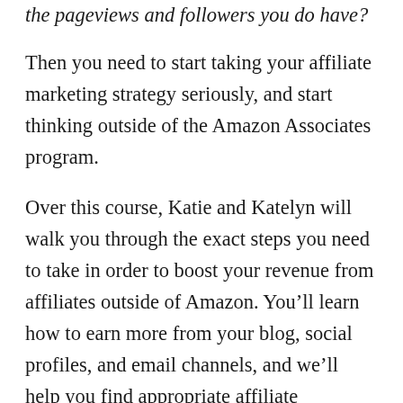the pageviews and followers you do have?
Then you need to start taking your affiliate marketing strategy seriously, and start thinking outside of the Amazon Associates program.
Over this course, Katie and Katelyn will walk you through the exact steps you need to take in order to boost your revenue from affiliates outside of Amazon. You'll learn how to earn more from your blog, social profiles, and email channels, and we'll help you find appropriate affiliate programs in your niche!